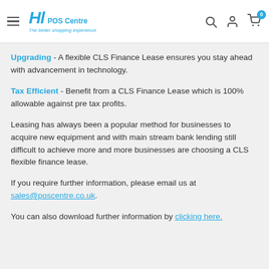HL POS Centre — The better shopping experience
Upgrading - A flexible CLS Finance Lease ensures you stay ahead with advancement in technology.
Tax Efficient - Benefit from a CLS Finance Lease which is 100% allowable against pre tax profits.
Leasing has always been a popular method for businesses to acquire new equipment and with main stream bank lending still difficult to achieve more and more businesses are choosing a CLS flexible finance lease.
If you require further information, please email us at sales@poscentre.co.uk.
You can also download further information by clicking here.